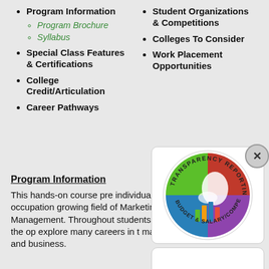Program Information
Program Brochure (sub-item, italic green)
Syllabus (sub-item, italic green)
Special Class Features & Certifications
College Credit/Articulation
Career Pathways
Student Organizations & Competitions
Colleges To Consider
Work Placement Opportunities
Program Information
This hands-on course pre- individuals for occupation- growing field of Marketing Management. Throughout students will have the op- explore many careers in t- marketing and business.
[Figure (logo): Transparency Reporting Budget & Salary/Compensation circular badge with Michigan state outline and colorful bar chart]
[Figure (logo): MI School Data logo with blue house and bar chart icon]